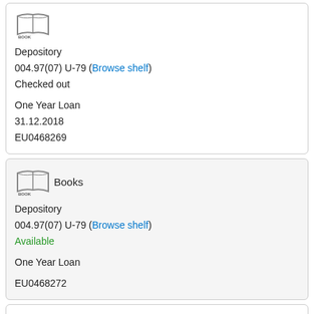[Figure (illustration): Book icon with BOOK label]
Depository
004.97(07) U-79 (Browse shelf)
Checked out
One Year Loan
31.12.2018
EU0468269
[Figure (illustration): Book icon with BOOK label]
Books
Depository
004.97(07) U-79 (Browse shelf)
Available
One Year Loan
EU0468272
[Figure (illustration): Book icon with BOOK label]
Books
Depository
004.97(07) U-79 (Browse shelf)